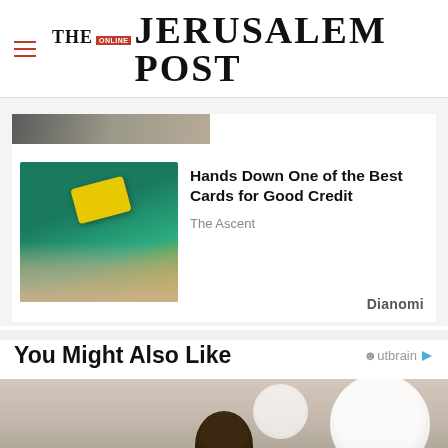THE JERUSALEM POST
[Figure (photo): Partial cropped image at top of ad card]
[Figure (photo): Hand holding a yellow credit card on teal background]
Hands Down One of the Best Cards for Good Credit
The Ascent
Dianomi
You Might Also Like
[Figure (photo): Person looking up, large white helmet visible, construction or industrial setting]
Advertisement